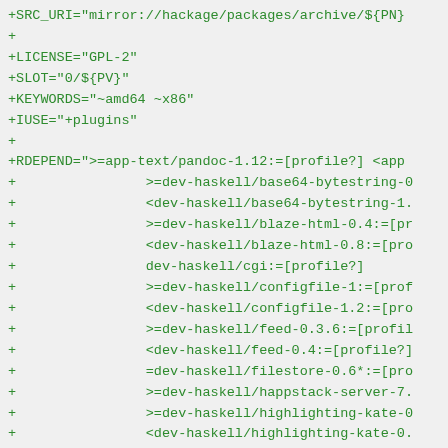+SRC_URI="mirror://hackage/packages/archive/${PN}
+
+LICENSE="GPL-2"
+SLOT="0/${PV}"
+KEYWORDS="~amd64 ~x86"
+IUSE="+plugins"
+
+RDEPEND=">=app-text/pandoc-1.12:=[profile?] <app
+                >=dev-haskell/base64-bytestring-0
+                <dev-haskell/base64-bytestring-1.
+                >=dev-haskell/blaze-html-0.4:=[pr
+                <dev-haskell/blaze-html-0.8:=[pro
+                dev-haskell/cgi:=[profile?]
+                >=dev-haskell/configfile-1:=[prof
+                <dev-haskell/configfile-1.2:=[pro
+                >=dev-haskell/feed-0.3.6:=[profil
+                <dev-haskell/feed-0.4:=[profile?]
+                =dev-haskell/filestore-0.6*:=[pro
+                >=dev-haskell/happstack-server-7.
+                >=dev-haskell/highlighting-kate-0
+                <dev-haskell/highlighting-kate-0.